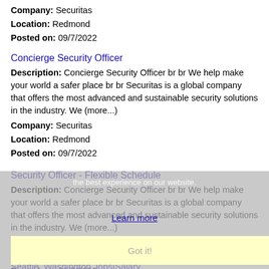Company: Securitas
Location: Redmond
Posted on: 09/7/2022
Concierge Security Officer
Description: Concierge Security Officer br br We help make your world a safer place br br Securitas is a global company that offers the most advanced and sustainable security solutions in the industry. We (more...)
Company: Securitas
Location: Redmond
Posted on: 09/7/2022
Security Officer - Flexible Schedule
Description: Concierge Security Officer br br We help make your world a safer place br br Securitas is a global company that offers the most advanced and sustainable security solutions in the industry. We (more...)
Company: Securitas
Location: Redmond
Posted on: 09/7/2022
Salary in Seattle, Washington Area | More details for Seattle, Washington Jobs|Salary